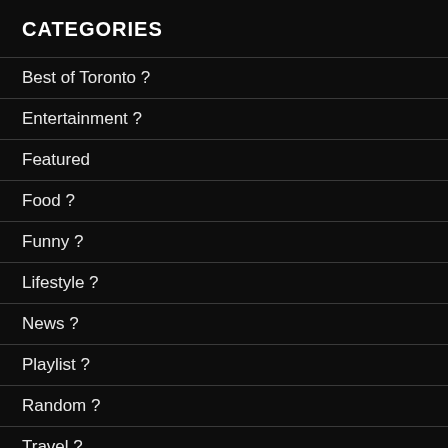CATEGORIES
Best of Toronto ?
Entertainment ?
Featured
Food ?
Funny ?
Lifestyle ?
News ?
Playlist ?
Random ?
Travel ?
UofT ?